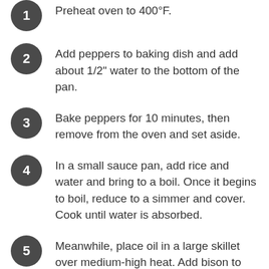Preheat oven to 400°F.
Add peppers to baking dish and add about 1/2" water to the bottom of the pan.
Bake peppers for 10 minutes, then remove from the oven and set aside.
In a small sauce pan, add rice and water and bring to a boil. Once it begins to boil, reduce to a simmer and cover. Cook until water is absorbed.
Meanwhile, place oil in a large skillet over medium-high heat. Add bison to